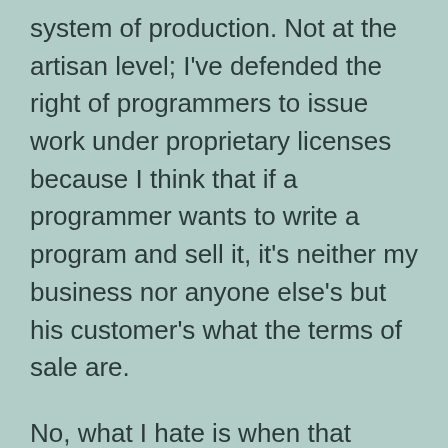system of production. Not at the artisan level; I've defended the right of programmers to issue work under proprietary licenses because I think that if a programmer wants to write a program and sell it, it's neither my business nor anyone else's but his customer's what the terms of sale are.

No, what I hate is when that system scales up into what left-wingers call soulless corporate machines. Unlike them, I'm OK with soulless corporate machines in general; they're positively good for you compared to the things governments get up to. It's the specific things